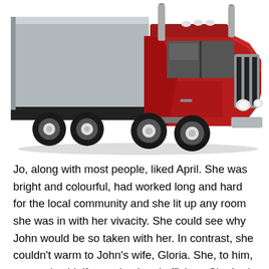[Figure (illustration): Illustration of a red semi-truck (18-wheeler) with a grey trailer, viewed from a front-side angle. The truck has chrome exhaust stacks, black grill, round headlights, and multiple black wheels with white hubcaps.]
Jo, along with most people, liked April. She was bright and colourful, had worked long and hard for the local community and she lit up any room she was in with her vivacity. She could see why John would be so taken with her. In contrast, she couldn't warm to John's wife, Gloria. She, to him, seemed cold, if organised and efficient. She had a great reputation in her job as school principal for keeping